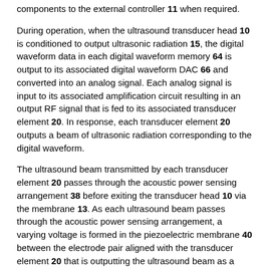components to the external controller 11 when required.
During operation, when the ultrasound transducer head 10 is conditioned to output ultrasonic radiation 15, the digital waveform data in each digital waveform memory 64 is output to its associated digital waveform DAC 66 and converted into an analog signal. Each analog signal is input to its associated amplification circuit resulting in an output RF signal that is fed to its associated transducer element 20. In response, each transducer element 20 outputs a beam of ultrasonic radiation corresponding to the digital waveform.
The ultrasound beam transmitted by each transducer element 20 passes through the acoustic power sensing arrangement 38 before exiting the transducer head 10 via the membrane 13. As each ultrasound beam passes through the acoustic power sensing arrangement, a varying voltage is formed in the piezoelectric membrane 40 between the electrode pair aligned with the transducer element 20 that is outputting the ultrasound beam as a result of the pressure variation created across the piezoelectric membrane 40. When the controller 11 addresses an electrode pair by enabling the multiplexers 42a and 42b connected to the upper and lower electrode strips 40a and 40b forming the electrode pair, the voltage across the piezoelectric membrane 40 between the electrode pair is sensed by the amplifier 44a. Amplifier 44a in turn outputs a voltage signal to the analog-to-digital converter 44b which converts the voltage signal to a digital value for